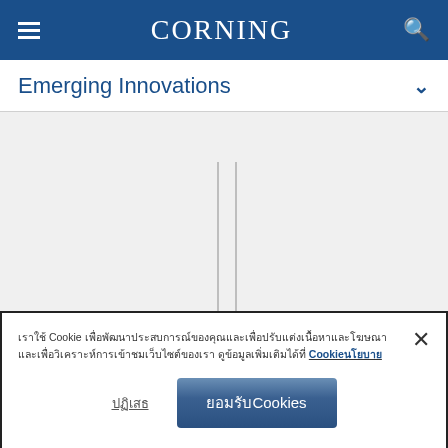CORNING
Emerging Innovations
[Figure (screenshot): Partial webpage screenshot showing two vertical gray lines on a light gray background, part of a Corning product or innovation page.]
เราใช้ Cookie เพื่อพัฒนาประสบการณ์ของคุณและเพื่อปรับแต่งเนื้อหาและโฆษณา และเพื่อวิเคราะห์การเข้าชมเว็บไซต์ของเรา ดูข้อมูลเพิ่มเติมได้ที่ Cookie นโยบาย
ปฏิเสธ
ยอมรับCookies